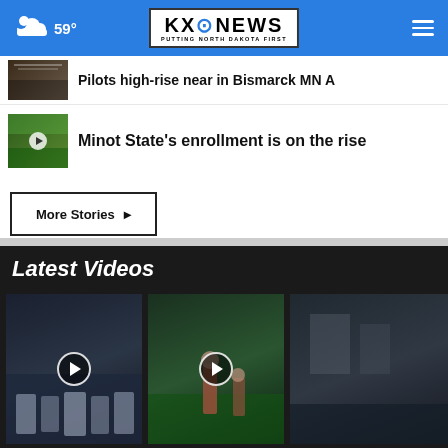59° KXO NEWS — PUTTING NORTH DAKOTA FIRST
Pilots high-rise near in Bismarck MN A
Minot State's enrollment is on the rise
More Stories ›
Latest Videos
[Figure (screenshot): Three video thumbnails in a row on dark background — crowd scene, soccer player, and partial third thumbnail]
[Figure (screenshot): Cockpit thumbnail and outdoor scene thumbnail for story items]